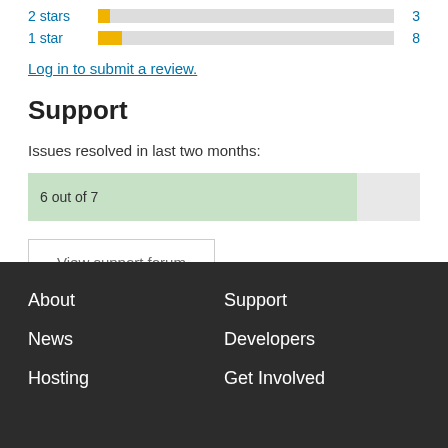[Figure (bar-chart): Star ratings]
Log in to submit a review.
Support
Issues resolved in last two months:
[Figure (other): Progress bar showing 6 out of 7 issues resolved]
View support forum
About  Support  News  Developers  Hosting  Get Involved